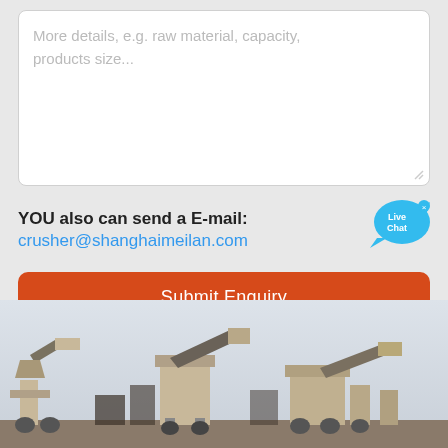More details, e.g. raw material, capacity, products size...
YOU also can send a E-mail:
crusher@shanghaimeilan.com
[Figure (illustration): Live Chat speech bubble icon with fish tail graphic and close X button]
Submit Enquiry
[Figure (photo): Industrial crushing/mining machinery equipment on a job site against a light grey sky]